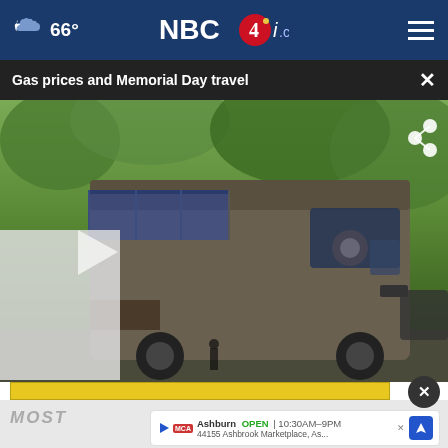66° NBC4i.com
Gas prices and Memorial Day travel
[Figure (screenshot): Video thumbnail showing a large RV/motorhome parked among trees with a play button overlay and share icon]
[Figure (screenshot): Yellow advertisement banner with close button (X circle)]
MOST
[Figure (screenshot): Ad card: Ashburn OPEN 10:30AM-9PM, 44155 Ashbrook Marketplace, As...]